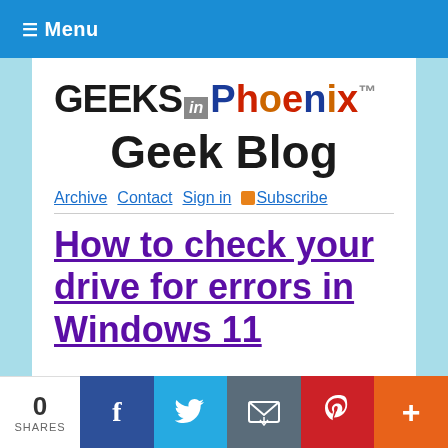≡ Menu
[Figure (logo): GEEKS in Phoenix logo with colorful Phoenix text]
Geek Blog
Archive  Contact  Sign in  Subscribe
How to check your drive for errors in Windows 11
0 SHARES  Facebook  Twitter  Email  Pinterest  More